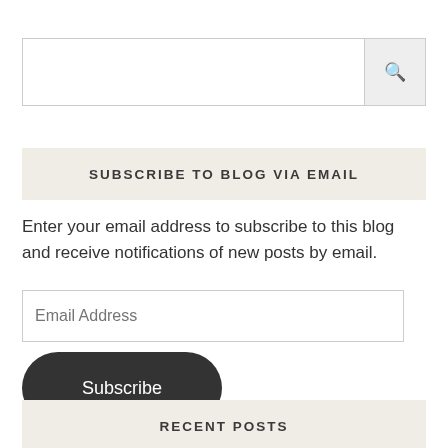[Figure (screenshot): Search bar input with magnifying glass icon button on the right]
SUBSCRIBE TO BLOG VIA EMAIL
Enter your email address to subscribe to this blog and receive notifications of new posts by email.
[Figure (screenshot): Email Address input field]
[Figure (screenshot): Subscribe button (dark rounded pill button)]
RECENT POSTS